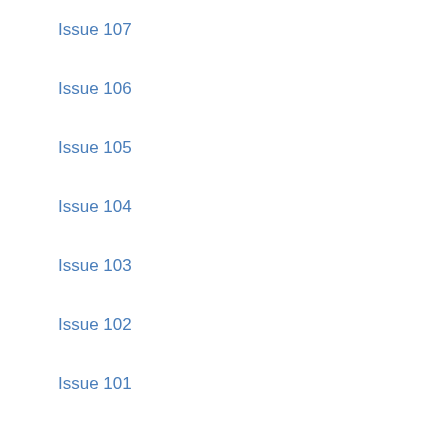Issue 107
Issue 106
Issue 105
Issue 104
Issue 103
Issue 102
Issue 101
Issue 100
Issue 99
Issue 98
Issue 97